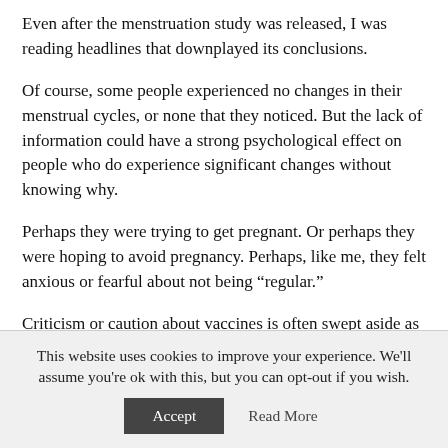Even after the menstruation study was released, I was reading headlines that downplayed its conclusions.
Of course, some people experienced no changes in their menstrual cycles, or none that they noticed. But the lack of information could have a strong psychological effect on people who do experience significant changes without knowing why.
Perhaps they were trying to get pregnant. Or perhaps they were hoping to avoid pregnancy. Perhaps, like me, they felt anxious or fearful about not being “regular.”
Criticism or caution about vaccines is often swept aside as being irrational or the delusions of conspiracy theorists. Yet
This website uses cookies to improve your experience. We'll assume you're ok with this, but you can opt-out if you wish.
Accept
Read More